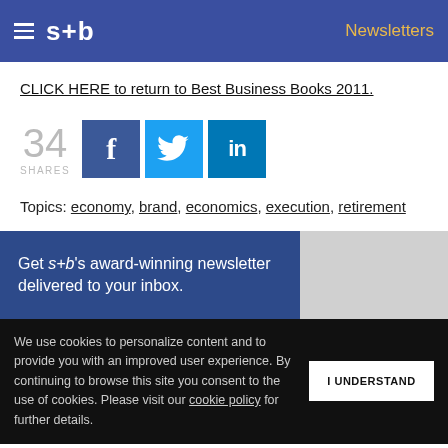s+b  Newsletters
CLICK HERE to return to Best Business Books 2011.
[Figure (infographic): Social share count: 34 SHARES, with Facebook, Twitter, and LinkedIn share buttons]
Topics: economy, brand, economics, execution, retirement
Get s+b's award-winning newsletter delivered to your inbox.
We use cookies to personalize content and to provide you with an improved user experience. By continuing to browse this site you consent to the use of cookies. Please visit our cookie policy for further details.